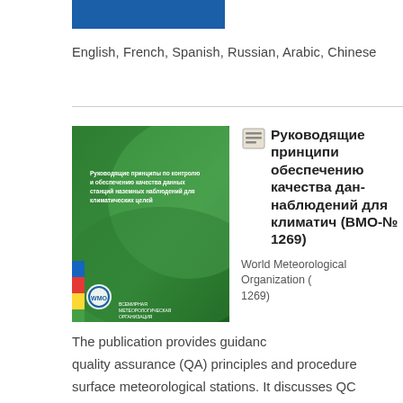[Figure (illustration): Blue rectangular bar at top of page]
English, French, Spanish, Russian, Arabic, Chinese
[Figure (photo): Book cover for WMO publication No. 1269 - green cover with Russian text about quality control of climate observation data]
Руководящие принципи обеспечению качества данных наблюдений для климатич (ВМО-№ 1269)
World Meteorological Organization (1269)
The publication provides guidance quality assurance (QA) principles and procedures surface meteorological stations. It discusses QC applications, documents key elements of data life